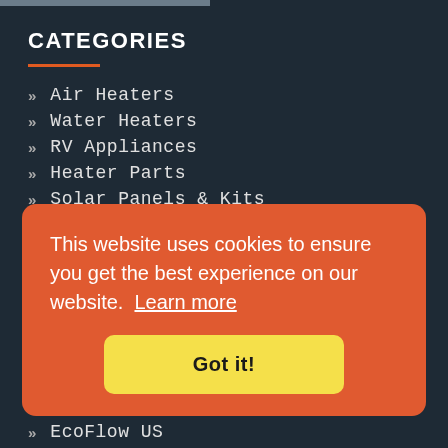CATEGORIES
Air Heaters
Water Heaters
RV Appliances
Heater Parts
Solar Panels & Kits
Special Deals
View all categories
This website uses cookies to ensure you get the best experience on our website. Learn more
Got it!
EcoFlow US